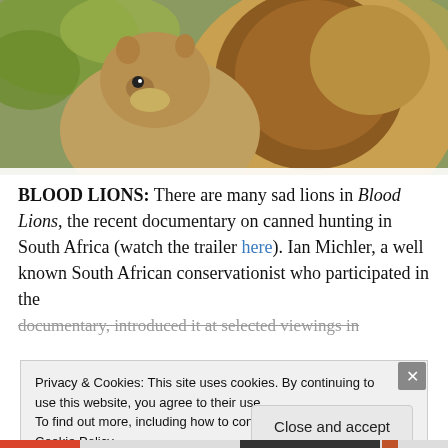[Figure (photo): Close-up photo of two lions, one smaller lion nuzzling or leaning against a larger lion with a full mane, with green foliage visible in the background.]
BLOOD LIONS: There are many sad lions in Blood Lions, the recent documentary on canned hunting in South Africa (watch the trailer here). Ian Michler, a well known South African conservationist who participated in the documentary, introduced it at selected viewings in
Privacy & Cookies: This site uses cookies. By continuing to use this website, you agree to their use.
To find out more, including how to control cookies, see here: Cookie Policy